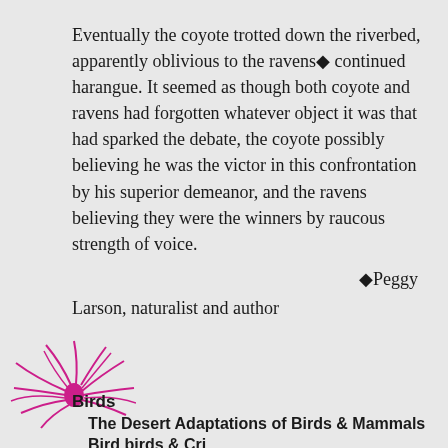Eventually the coyote trotted down the riverbed, apparently oblivious to the ravens■ continued harangue. It seemed as though both coyote and ravens had forgotten whatever object it was that had sparked the debate, the coyote possibly believing he was the victor in this confrontation by his superior demeanor, and the ravens believing they were the winners by raucous strength of voice.
■Peggy Larson, naturalist and author
[Figure (illustration): A decorative pink/magenta stylized spider or starburst illustration]
Birds
The Desert Adaptations of Birds & Mammals
Bird birds & Cri...